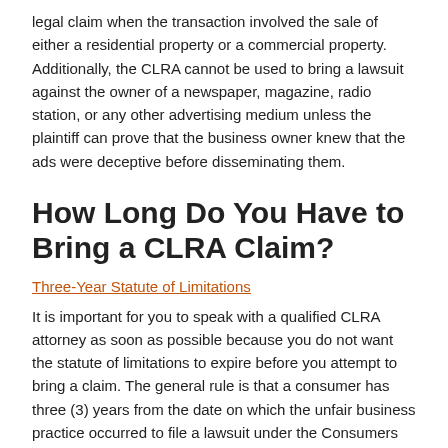legal claim when the transaction involved the sale of either a residential property or a commercial property. Additionally, the CLRA cannot be used to bring a lawsuit against the owner of a newspaper, magazine, radio station, or any other advertising medium unless the plaintiff can prove that the business owner knew that the ads were deceptive before disseminating them.
How Long Do You Have to Bring a CLRA Claim?
Three-Year Statute of Limitations
It is important for you to speak with a qualified CLRA attorney as soon as possible because you do not want the statute of limitations to expire before you attempt to bring a claim. The general rule is that a consumer has three (3) years from the date on which the unfair business practice occurred to file a lawsuit under the Consumers Legal Remedies Act. If you miss this deadline, you may be barred from bringing a legal action.
Business Owner's Opportunity to Cure